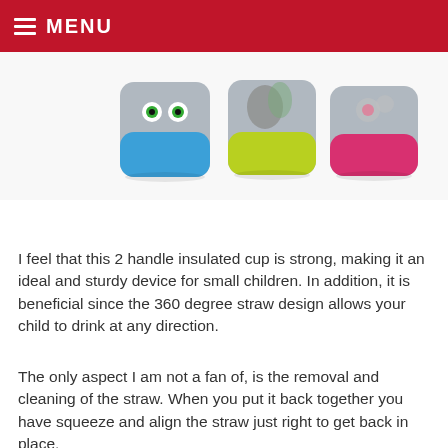MENU
[Figure (photo): Three insulated children's cups with colorful bases: blue with owl design, yellow-green with floral/nature design, and pink with floral design. Stainless steel body.]
I feel that this 2 handle insulated cup is strong, making it an ideal and sturdy device for small children. In addition, it is beneficial since the 360 degree straw design allows your child to drink at any direction.
The only aspect I am not a fan of, is the removal and cleaning of the straw. When you put it back together you have squeeze and align the straw just right to get back in place.